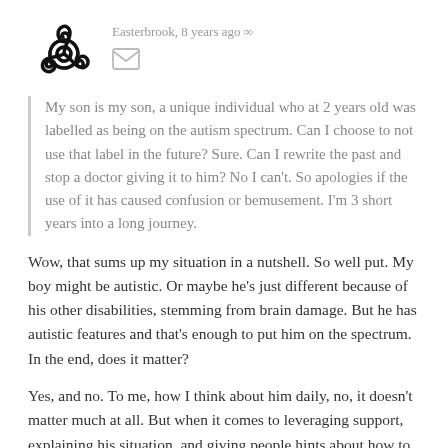[Figure (illustration): Triskelion / triple spiral decorative avatar icon in black]
Easterbrook, 8 years ago ∞
[Figure (illustration): Envelope / message icon in grey]
My son is my son, a unique individual who at 2 years old was labelled as being on the autism spectrum. Can I choose to not use that label in the future? Sure. Can I rewrite the past and stop a doctor giving it to him? No I can't. So apologies if the use of it has caused confusion or bemusement. I'm 3 short years into a long journey.
Wow, that sums up my situation in a nutshell. So well put. My boy might be autistic. Or maybe he's just different because of his other disabilities, stemming from brain damage. But he has autistic features and that's enough to put him on the spectrum. In the end, does it matter?
Yes, and no. To me, how I think about him daily, no, it doesn't matter much at all. But when it comes to leveraging support, explaining his situation, and giving people hints about how to deal with him, then it's a useful idea. It talks to a difference in